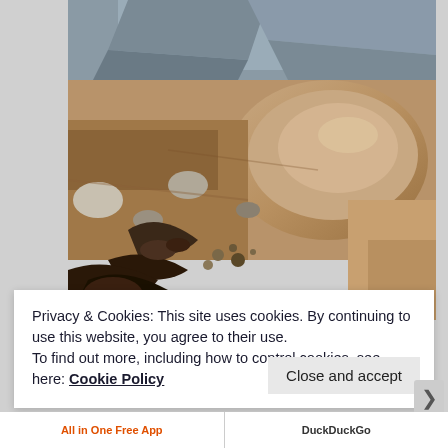[Figure (photo): Close-up photograph of rocky ground with dirt, mud, stones, pebbles, and leaf debris on a trail or excavation site. Colors include brown, tan, grey, and dark brown organic matter.]
Privacy & Cookies: This site uses cookies. By continuing to use this website, you agree to their use.
To find out more, including how to control cookies, see here: Cookie Policy
Close and accept